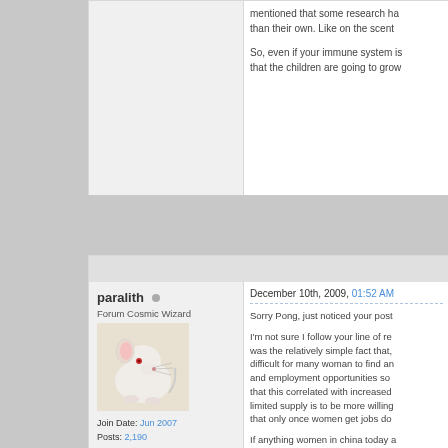mentioned that some research ha... than their own. Like on the scent...
So, even if your immune system is... that the children are going to grow...
paralith
Forum Cosmic Wizard
[Figure (photo): Photo of a white mouse/rat on a light background]
Join Date: Jun 2007
Posts: 2,190
December 10th, 2009, 01:52 AM
Sorry Pong, just noticed your post...
I'm not sure I follow your line of re... was the relatively simple fact that,... difficult for many woman to find an... and employment opportunities so... that this correlated with increased... limited supply is to be more willing... that only once women get jobs do...
If anything women in china today a... on second children, parents are p... birth of daughters or are committir... men than women, and many wo...